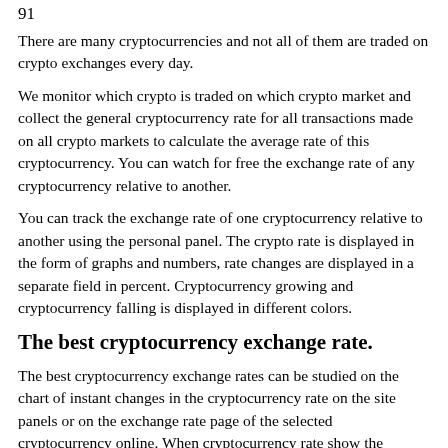91
There are many cryptocurrencies and not all of them are traded on crypto exchanges every day.
We monitor which crypto is traded on which crypto market and collect the general cryptocurrency rate for all transactions made on all crypto markets to calculate the average rate of this cryptocurrency. You can watch for free the exchange rate of any cryptocurrency relative to another.
You can track the exchange rate of one cryptocurrency relative to another using the personal panel. The crypto rate is displayed in the form of graphs and numbers, rate changes are displayed in a separate field in percent. Cryptocurrency growing and cryptocurrency falling is displayed in different colors.
The best cryptocurrency exchange rate.
The best cryptocurrency exchange rates can be studied on the chart of instant changes in the cryptocurrency rate on the site panels or on the exchange rate page of the selected cryptocurrency online. When cryptocurrency rate show the minimum value - this is the best time for purchases, and when cryptocurrency reaches the maximum exchange rate - it is the best time for the sale of crypto.